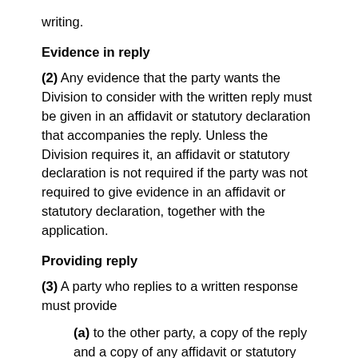writing.
Evidence in reply
(2) Any evidence that the party wants the Division to consider with the written reply must be given in an affidavit or statutory declaration that accompanies the reply. Unless the Division requires it, an affidavit or statutory declaration is not required if the party was not required to give evidence in an affidavit or statutory declaration, together with the application.
Providing reply
(3) A party who replies to a written response must provide
(a) to the other party, a copy of the reply and a copy of any affidavit or statutory declaration; and
(b) to the Division, the original reply and the original of any affidavit or statutory declaration,